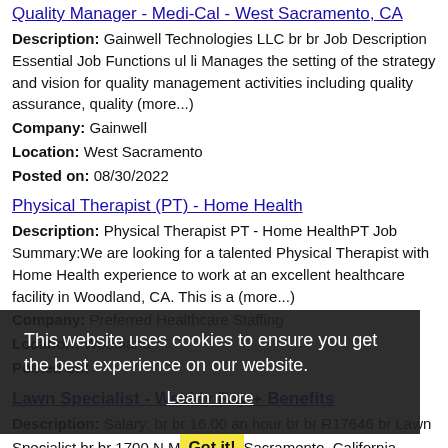Quality Manager - Medi-Cal - West Sacramento, CA
Description: Gainwell Technologies LLC br br Job Description Essential Job Functions ul li Manages the setting of the strategy and vision for quality management activities including quality assurance, quality (more...)
Company: Gainwell
Location: West Sacramento
Posted on: 08/30/2022
Physical Therapist (PT) - Home Health
Description: Physical Therapist PT - Home HealthPT Job Summary:We are looking for a talented Physical Therapist with Home Health experience to work at an excellent healthcare facility in Woodland, CA. This is a (more...)
Company: Preferred Healthcare Staffing
Location: Woodland
Posted on:
Lawn Specialist - Weekly Pay + Benefits
Description: Salary: br br 16.00 an hour br br R17646 br Lawn Specialist br br 1700 N Market Blvd, Sacramento, California 95834 br br Job Description br br Do you like being outdoors Do you like (more...)
Company: TruGreen
This website uses cookies to ensure you get the best experience on our website. Learn more Got it!